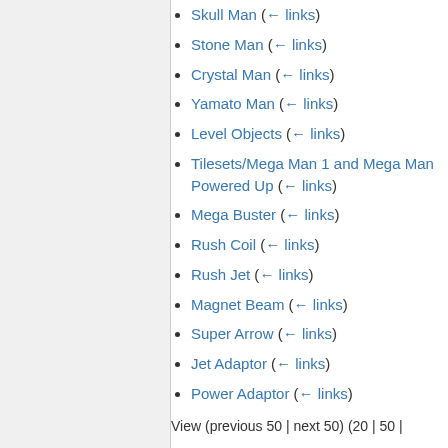Skull Man  (← links)
Stone Man  (← links)
Crystal Man  (← links)
Yamato Man  (← links)
Level Objects  (← links)
Tilesets/Mega Man 1 and Mega Man Powered Up  (← links)
Mega Buster  (← links)
Rush Coil  (← links)
Rush Jet  (← links)
Magnet Beam  (← links)
Super Arrow  (← links)
Jet Adaptor  (← links)
Power Adaptor  (← links)
Super Adaptor  (← links)
Picket Man  (← links)
Backgrounds/Mega Man 1 and Powered Up  (← links)
View (previous 50 | next 50) (20 | 50 |